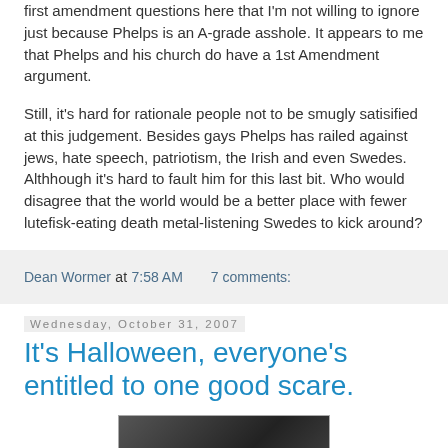first amendment questions here that I'm not willing to ignore just because Phelps is an A-grade asshole. It appears to me that Phelps and his church do have a 1st Amendment argument.
Still, it's hard for rationale people not to be smugly satisified at this judgement. Besides gays Phelps has railed against jews, hate speech, patriotism, the Irish and even Swedes. Althhough it's hard to fault him for this last bit. Who would disagree that the world would be a better place with fewer lutefisk-eating death metal-listening Swedes to kick around?
Dean Wormer at 7:58 AM   7 comments:
Wednesday, October 31, 2007
It's Halloween, everyone's entitled to one good scare.
[Figure (photo): Dark photograph showing a person, partially visible at bottom of page]